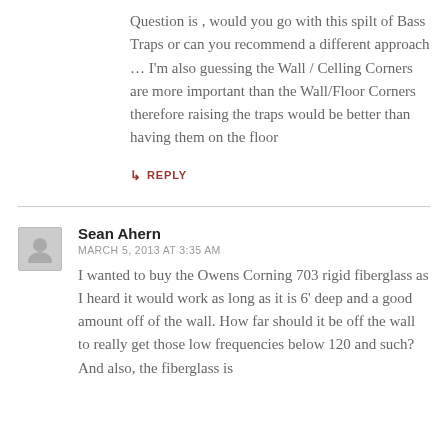Question is , would you go with this spilt of Bass Traps or can you recommend a different approach … I'm also guessing the Wall / Celling Corners are more important than the Wall/Floor Corners therefore raising the traps would be better than having them on the floor
↳ REPLY
Sean Ahern
MARCH 5, 2013 AT 3:35 AM
I wanted to buy the Owens Corning 703 rigid fiberglass as I heard it would work as long as it is 6' deep and a good amount off of the wall. How far should it be off the wall to really get those low frequencies below 120 and such? And also, the fiberglass is